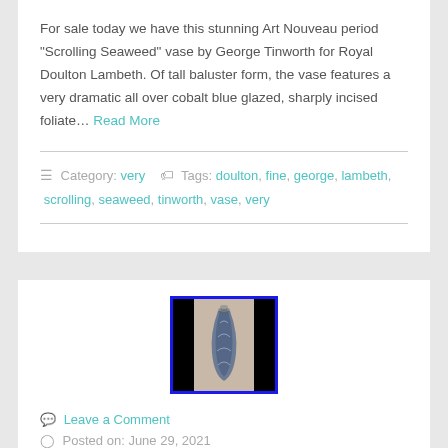For sale today we have this stunning Art Nouveau period “Scrolling Seaweed” vase by George Tinworth for Royal Doulton Lambeth. Of tall baluster form, the vase features a very dramatic all over cobalt blue glazed, sharply incised foliate... Read More
Category: very   Tags: doulton, fine, george, lambeth, scrolling, seaweed, tinworth, vase, very
[Figure (photo): A decorative antique vase with dark cobalt blue glaze on a black background with blue border.]
Leave a Comment
Posted on: June 29, 2021